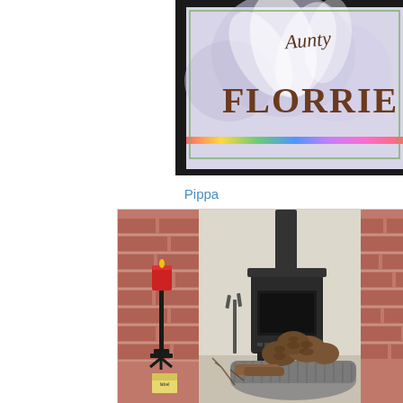[Figure (photo): A framed artwork with a floral/watercolor background showing the text 'Aunty FLORRIE' in decorative lettering with gold and brown tones, black frame with iridescent border]
Pippa
[Figure (photo): Indoor fireplace with brick surround, a small black wood-burning stove with chimney pipe, a red pillar candle on a tall black metal candlestick, a grey knitted/crocheted basket containing pine cones and logs, some decorative items on the hearth]